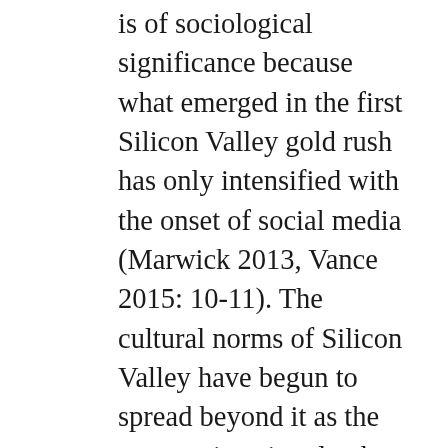is of sociological significance because what emerged in the first Silicon Valley gold rush has only intensified with the onset of social media (Marwick 2013, Vance 2015: 10-11). The cultural norms of Silicon Valley have begun to spread beyond it as the corporations involved have sought political influence, both in terms of their own self-interest but also the character of government itself (McGoey 2015, Frank 2016: loc 2918-2934). As  Srnicek (2016: loc 157-178) puts it, the digital economy now acts as a leading light in an otherwise stagnant economy